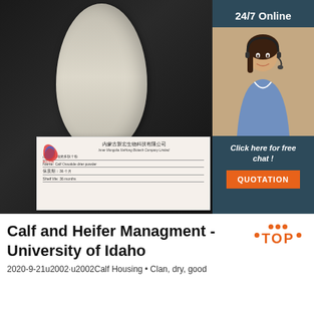[Figure (photo): Product photo showing a white powder in an egg-shaped container on a dark background, with a product label card showing company name Inner Mongolia XieHong Biotech Company Limited, product name: Calf Ossotide drier powder, shelf life: 36 months. A side panel shows a customer service agent with '24/7 Online' text, 'Click here for free chat!' and an orange QUOTATION button.]
Calf and Heifer Managment - University of Idaho
2020-9-21u2002·u2002Calf Housing • Clan, dry, good